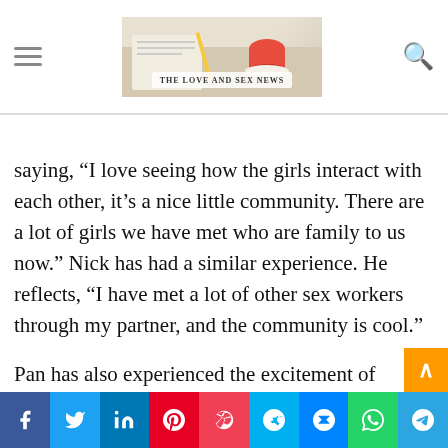THE LOVE AND SEX NEWS
All of the partners that we interviewed talked about being partnered in a sex work positive light. Pan says, "I like the community." Fang agrees, saying, "I love seeing how the girls interact with each other, it's a nice little community. There are a lot of girls we have met who are family to us now." Nick has had a similar experience. He reflects, "I have met a lot of other sex workers through my partner, and the community is cool."
Pan has also experienced the excitement of seeing their partner work, and that lens has only deepened their feelings for them. "There was one moment [when they were shooting a scene] where they topped another performer when I had a burst of pride," they recall. "I thought, 'wow, that's hot,' because they were